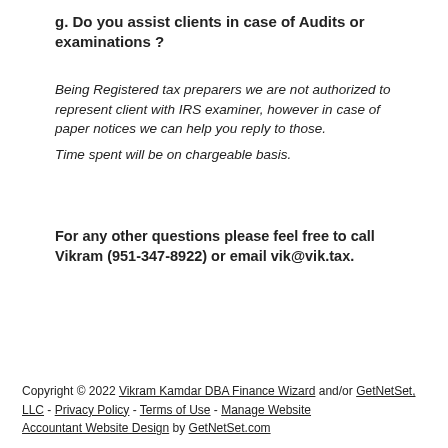g. Do you assist clients in case of Audits or examinations ?
Being Registered tax preparers we are not authorized to represent client with IRS examiner, however in case of paper notices we can help you reply to those. Time spent will be on chargeable basis.
For any other questions please feel free to call Vikram (951-347-8922) or email vik@vik.tax.
Copyright © 2022 Vikram Kamdar DBA Finance Wizard and/or GetNetSet, LLC - Privacy Policy - Terms of Use - Manage Website Accountant Website Design by GetNetSet.com